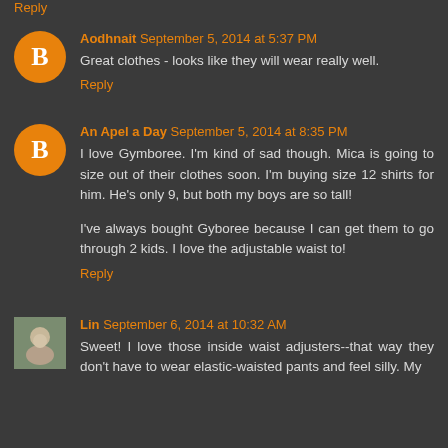Reply
Aodhnait September 5, 2014 at 5:37 PM
Great clothes - looks like they will wear really well.
Reply
An Apel a Day September 5, 2014 at 8:35 PM
I love Gymboree. I'm kind of sad though. Mica is going to size out of their clothes soon. I'm buying size 12 shirts for him. He's only 9, but both my boys are so tall!
I've always bought Gyboree because I can get them to go through 2 kids. I love the adjustable waist to!
Reply
Lin September 6, 2014 at 10:32 AM
Sweet! I love those inside waist adjusters--that way they don't have to wear elastic-waisted pants and feel silly. My